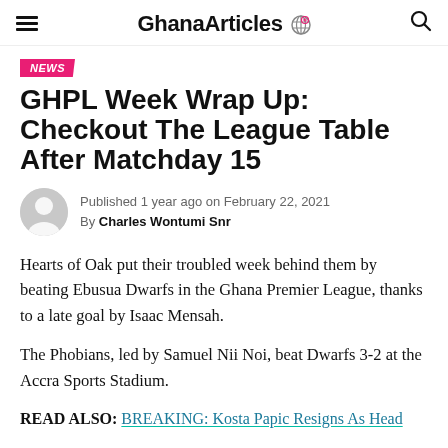GhanaArticles
NEWS
GHPL Week Wrap Up: Checkout The League Table After Matchday 15
Published 1 year ago on February 22, 2021 By Charles Wontumi Snr
Hearts of Oak put their troubled week behind them by beating Ebusua Dwarfs in the Ghana Premier League, thanks to a late goal by Isaac Mensah.
The Phobians, led by Samuel Nii Noi, beat Dwarfs 3-2 at the Accra Sports Stadium.
READ ALSO: BREAKING: Kosta Papic Resigns As Head